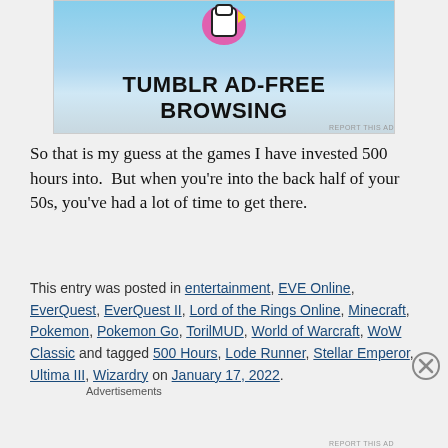[Figure (illustration): Tumblr ad banner with logo icon, blue sky background, and bold text reading TUMBLR AD-FREE BROWSING]
So that is my guess at the games I have invested 500 hours into.  But when you're into the back half of your 50s, you've had a lot of time to get there.
This entry was posted in entertainment, EVE Online, EverQuest, EverQuest II, Lord of the Rings Online, Minecraft, Pokemon, Pokemon Go, TorilMUD, World of Warcraft, WoW Classic and tagged 500 Hours, Lode Runner, Stellar Emperor, Ultima III, Wizardry on January 17, 2022.
Advertisements
[Figure (illustration): Seamless food delivery ad banner showing pizza image, seamless logo in red, and ORDER NOW button]